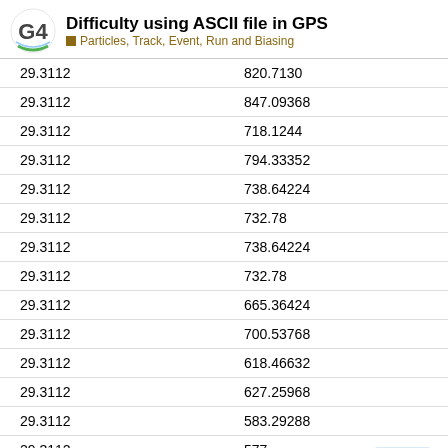Difficulty using ASCII file in GPS — Particles, Track, Event, Run and Biasing
| col1 | col2 |
| --- | --- |
| 29.3112 | 820.7130 |
| 29.3112 | 847.09368 |
| 29.3112 | 718.1244 |
| 29.3112 | 794.33352 |
| 29.3112 | 738.64224 |
| 29.3112 | 732.78 |
| 29.3112 | 738.64224 |
| 29.3112 | 732.78 |
| 29.3112 | 665.36424 |
| 29.3112 | 700.53768 |
| 29.3112 | 618.46632 |
| 29.3112 | 627.25968 |
| 29.3112 | 583.29288 |
| 29.3112 | 577... |
| 29.3112 | 574... |
1 / 1